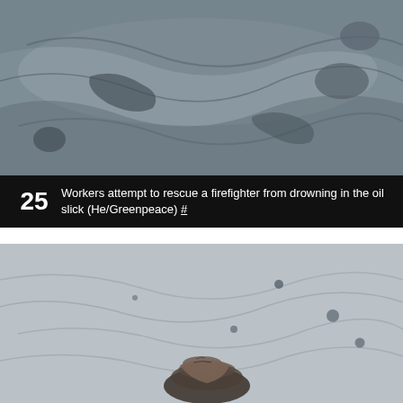[Figure (photo): Aerial or close-up view of dark oil slick on water surface with rocks visible, grey and black swirling patterns]
25  Workers attempt to rescue a firefighter from drowning in the oil slick (He/Greenpeace) #
[Figure (photo): A person submerged in grey oil-covered water, head visible above surface, looking upward]